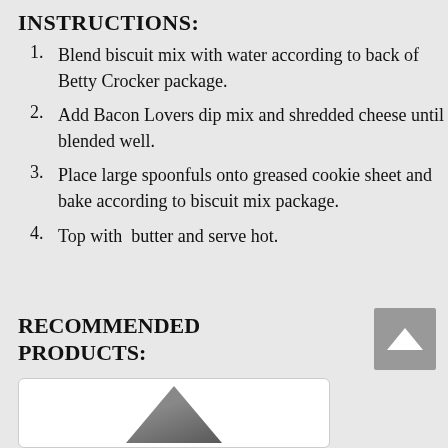INSTRUCTIONS:
Blend biscuit mix with water according to back of Betty Crocker package.
Add Bacon Lovers dip mix and shredded cheese until blended well.
Place large spoonfuls onto greased cookie sheet and bake according to biscuit mix package.
Top with  butter and serve hot.
RECOMMENDED PRODUCTS:
[Figure (photo): Product image of a package (partially visible at bottom of page)]